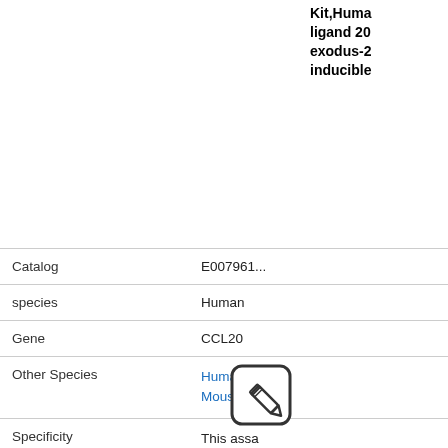Kit,Human CCL20/MIP-3 alpha/LARC/Exodus-2/CKb4 Inducible ELISA Kit
| Field | Value |
| --- | --- |
| Catalog | E007961... |
| species | Human |
| Gene | CCL20 |
| Other Species | Human M...
Mouse M... |
| Specificity | This assa... significant... observed... |
| Samples | Serum, P... |
| Sensitivity | 3.9 pg/ml |
| Intended Use | Human C... |